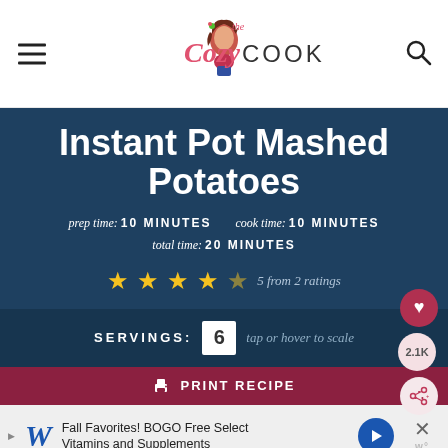The Cozy Cook - navigation header with hamburger menu, logo, and search icon
Instant Pot Mashed Potatoes
prep time: 10 MINUTES   cook time: 10 MINUTES
total time: 20 MINUTES
5 from 2 ratings
SERVINGS: 6   tap or hover to scale
PRINT RECIPE
Fall Favorites! BOGO Free Select Vitamins and Supplements